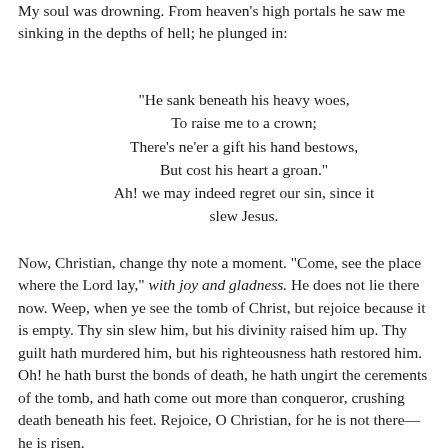My soul was drowning. From heaven's high portals he saw me sinking in the depths of hell; he plunged in:
"He sank beneath his heavy woes,
To raise me to a crown;
There's ne'er a gift his hand bestows,
But cost his heart a groan."
Ah! we may indeed regret our sin, since it slew Jesus.
Now, Christian, change thy note a moment. "Come, see the place where the Lord lay," with joy and gladness. He does not lie there now. Weep, when ye see the tomb of Christ, but rejoice because it is empty. Thy sin slew him, but his divinity raised him up. Thy guilt hath murdered him, but his righteousness hath restored him. Oh! he hath burst the bonds of death, he hath ungirt the cerements of the tomb, and hath come out more than conqueror, crushing death beneath his feet. Rejoice, O Christian, for he is not there—he is risen.